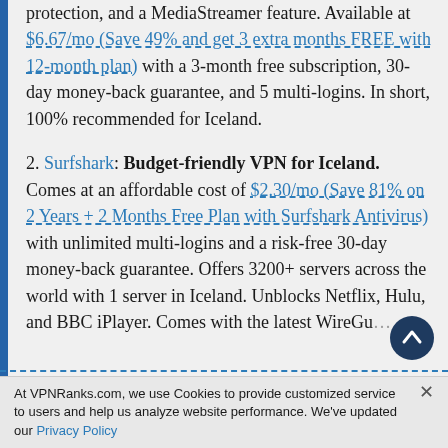protection, and a MediaStreamer feature. Available at $6.67/mo (Save 49% and get 3 extra months FREE with 12-month plan) with a 3-month free subscription, 30-day money-back guarantee, and 5 multi-logins. In short, 100% recommended for Iceland.
2. Surfshark: Budget-friendly VPN for Iceland. Comes at an affordable cost of $2.30/mo (Save 81% on 2 Years + 2 Months Free Plan with Surfshark Antivirus) with unlimited multi-logins and a risk-free 30-day money-back guarantee. Offers 3200+ servers across the world with 1 server in Iceland. Unblocks Netflix, Hulu, and BBC iPlayer. Comes with the latest WireGu...
At VPNRanks.com, we use Cookies to provide customized service to users and help us analyze website performance. We've updated our Privacy Policy